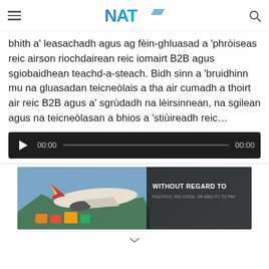NAT (logo) with hamburger menu and search icon
bhith a' leasachadh agus ag fèin-ghluasad a 'phròiseas reic airson riochdairean reic iomairt B2B agus sgiobaidhean teachd-a-steach. Bidh sinn a 'bruidhinn mu na gluasadan teicneòlais a tha air cumadh a thoirt air reic B2B agus a' sgrùdadh na lèirsinnean, na sgilean agus na teicneòlasan a bhios a 'stiùireadh reic…
[Figure (other): Audio player bar with play button, time display 00:00, progress bar, and end time 00:00]
[Figure (photo): Advertisement banner showing airplane being loaded with cargo, with overlay text WITHOUT REGARD TO POLITICS, RELIGION, OR ABILITY TO PAY]